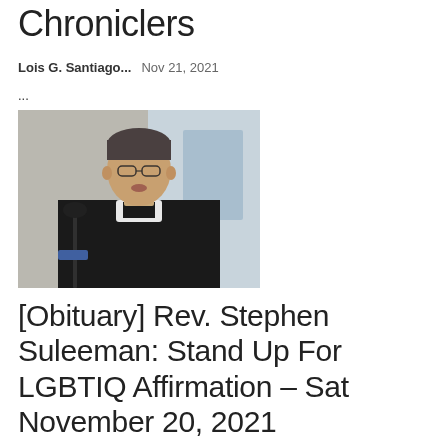Chroniclers
Lois G. Santiago...  Nov 21, 2021
...
[Figure (photo): A man in clerical collar and black suit speaking into a microphone, with glasses and gray hair]
[Obituary] Rev. Stephen Suleeman: Stand Up For LGBTIQ Affirmation – Sat November 20, 2021